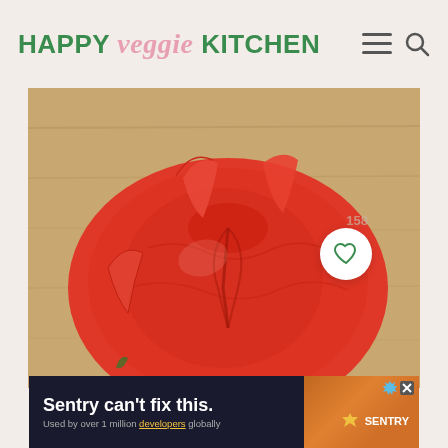HAPPY veggie KITCHEN
[Figure (photo): Close-up photo of a red tomato with skin peeling back in segments, showing the top/stem end of the tomato on a wooden cutting board background]
[Figure (other): Advertisement banner: 'Sentry can't fix this.' Used by over 1 million developers globally, with Sentry logo and people illustration]